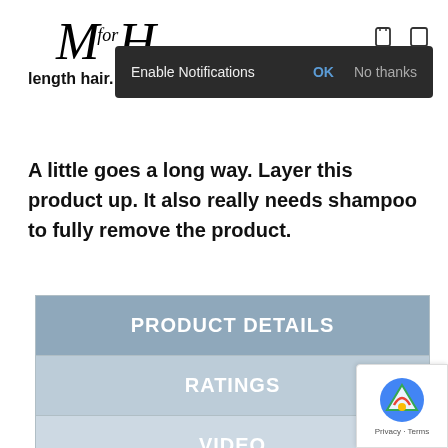[Figure (logo): M for H brand logo in italic serif font]
length hair.
[Figure (screenshot): Browser notification popup: 'Enable Notifications' with OK and No thanks options on dark background]
A little goes a long way. Layer this product up. It also really needs shampoo to fully remove the product.
| PRODUCT DETAILS |
| RATINGS |
| VIDEO |